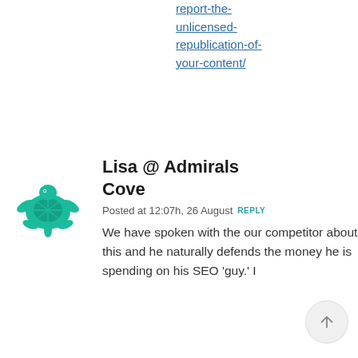report-the-unlicensed-republication-of-your-content/
[Figure (illustration): Teal sea turtle logo/avatar icon]
Lisa @ Admirals Cove
Posted at 12:07h, 26 August  REPLY
We have spoken with the our competitor about this and he naturally defends the money he is spending on his SEO 'guy.' I